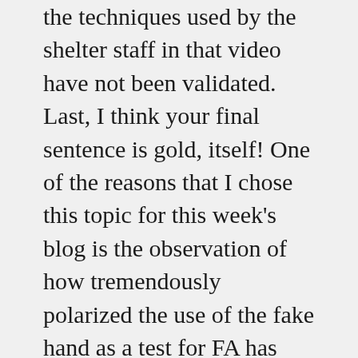the techniques used by the shelter staff in that video have not been validated. Last, I think your final sentence is gold, itself! One of the reasons that I chose this topic for this week's blog is the observation of how tremendously polarized the use of the fake hand as a test for FA has become in the dog world. It continues to amaze me how attached people are to their hands :)......pun intended, while others attack those who use it as if they are dog haters. If we can step away from our cherished beliefs (and egos) and try to make well-supported decisions for our dogs rather than